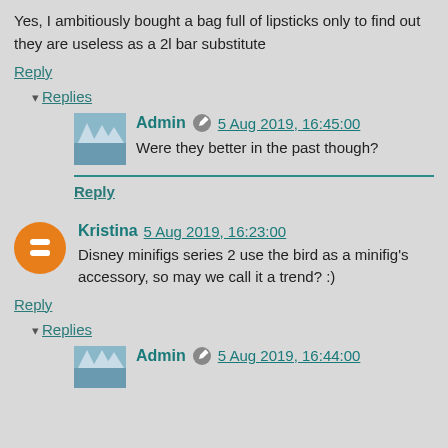Yes, I ambitiously bought a bag full of lipsticks only to find out they are useless as a 2l bar substitute
Reply
▾ Replies
Admin  5 Aug 2019, 16:45:00
Were they better in the past though?
Reply
Kristina  5 Aug 2019, 16:23:00
Disney minifigs series 2 use the bird as a minifig's accessory, so may we call it a trend? :)
Reply
▾ Replies
Admin  5 Aug 2019, 16:44:00